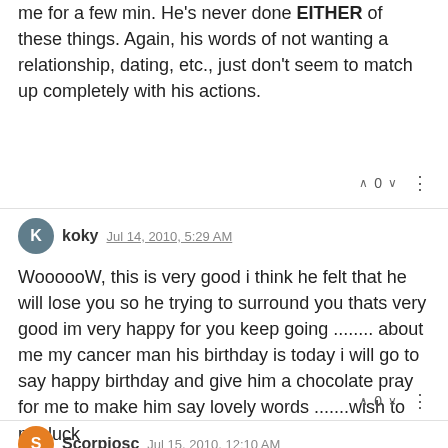rolled down his window to wave at me and spoke to me for a few min. He's never done EITHER of these things. Again, his words of not wanting a relationship, dating, etc., just don't seem to match up completely with his actions.
^ 0 v ...
koky Jul 14, 2010, 5:29 AM
WoooooW, this is very good i think he felt that he will lose you so he trying to surround you thats very good im very happy for you keep going ........ about me my cancer man his birthday is today i will go to say happy birthday and give him a chocolate pray for me to make him say lovely words .......wish to me luck
^ 0 v ...
Scorpiosc Jul 15, 2010, 12:10 AM